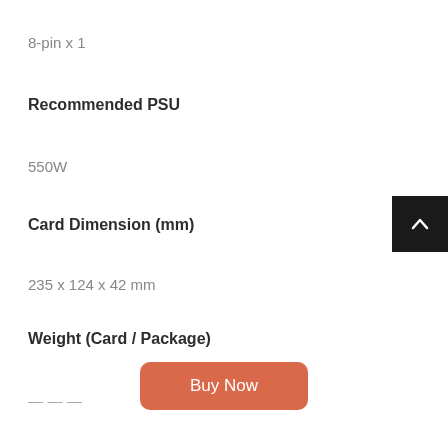8-pin x 1
Recommended PSU
550W
Card Dimension (mm)
235 x 124 x 42 mm
Weight (Card / Package)
---